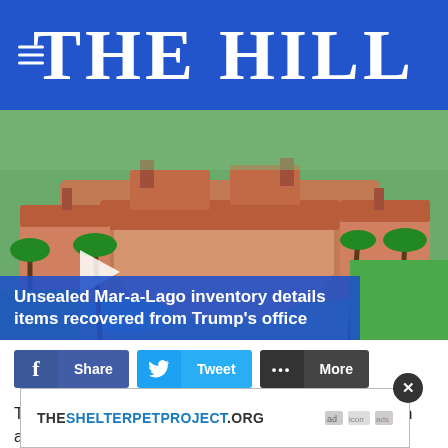THE HILL
[Figure (photo): Aerial view of Mar-a-Lago estate in Florida, showing red-tiled rooftops, palm trees, and a pool]
Unsealed Mar-a-Lago inventory details items recovered from Trump's office
[Figure (infographic): Social share buttons: Facebook Share, Twitter Tweet, More]
The upcoming inauguration of President-elect Joe Biden and the looming Senate impeachment trial for Presi... infect...
[Figure (infographic): Advertisement overlay: THESHELTERPETPROJECT.ORG with ad icons and close button]